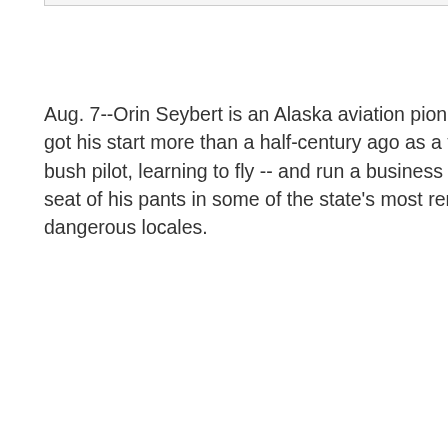BUILDING A SMALL AIRLINE EMPIRE (REDNOVA)
Aug. 7--Orin Seybert is an Alaska aviation pioneer. He got his start more than a half-century ago as a teenage bush pilot, learning to fly -- and run a business -- by the seat of his pants in some of the state's most remote and dangerous locales.
Posted at 07:48 PM
BUILDING A SMALL AIRLINE EMPIRE (REDNOVA)
Aug. 7--Orin Seybert is an Alaska aviation pioneer. He got his start more than a half-century ago as a teenage bush pilot, learning to fly -- and run a business -- by the seat of his pants in some of the state's